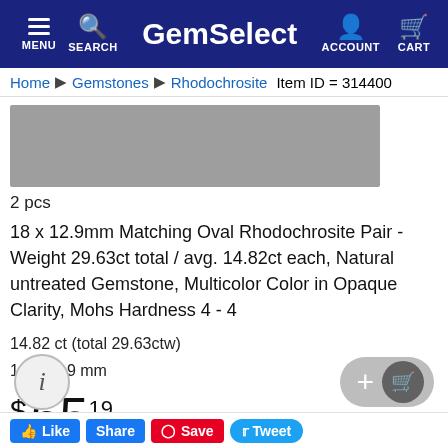GemSelect — MENU SEARCH ACCOUNT CART
Home > Gemstones > Rhodochrosite  Item ID = 314400
[Figure (photo): Product image placeholder (gray rectangle) for Rhodochrosite gemstone]
2 pcs
18 x 12.9mm Matching Oval Rhodochrosite Pair - Weight 29.63ct total / avg. 14.82ct each, Natural untreated Gemstone, Multicolor Color in Opaque Clarity, Mohs Hardness 4 - 4
14.82 ct (total 29.63ctw)
18 x 12.9 mm
$ 65.19